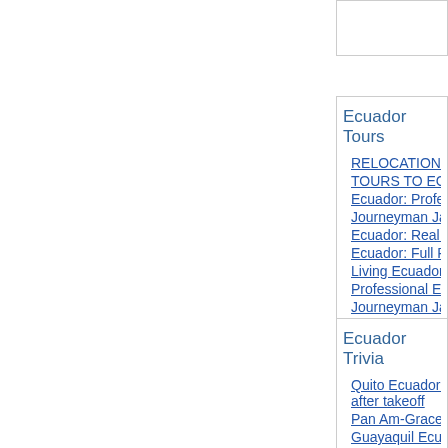Ecuador Tours
RELOCATION SER...
TOURS TO ECUA...
Ecuador: Professio...
Journeyman Jack
Ecuador: Real Esta...
Ecuador: Full Real...
Living Ecuador
Professional Ecua...
Journeyman Jack
Ecuador Trivia
Quito Ecuador (199... after takeoff
Pan Am-Grace Flyi...
Guayaquil Ecuado...
Ecuador: Results o... suicide in Ecuador
Ecuador: Expat fro...